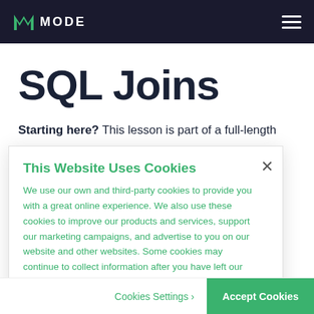MODE
SQL Joins
Starting here? This lesson is part of a full-length
This Website Uses Cookies
We use our own and third-party cookies to provide you with a great online experience. We also use these cookies to improve our products and services, support our marketing campaigns, and advertise to you on our website and other websites. Some cookies may continue to collect information after you have left our website. Learn more here ›
Cookies Settings ›
Accept Cookies